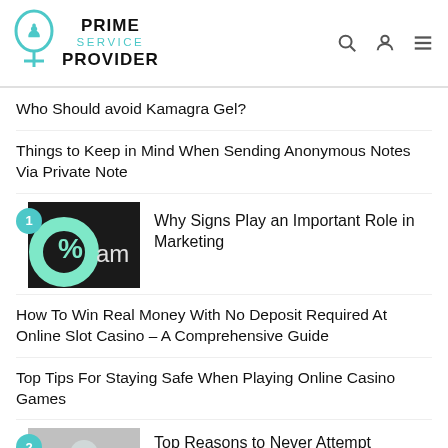PRIME SERVICE PROVIDER
Who Should avoid Kamagra Gel?
Things to Keep in Mind When Sending Anonymous Notes Via Private Note
Why Signs Play an Important Role in Marketing
How To Win Real Money With No Deposit Required At Online Slot Casino – A Comprehensive Guide
Top Tips For Staying Safe When Playing Online Casino Games
Top Reasons to Never Attempt Asbestos Removal by Yourself